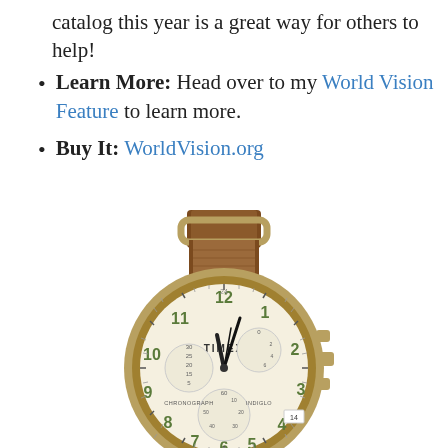catalog this year is a great way for others to help!
Learn More: Head over to my World Vision Feature to learn more.
Buy It: WorldVision.org
[Figure (photo): A Timex Weekender Chronograph watch with a brown leather NATO strap and antique gold-tone case. The cream dial shows CHRONOGRAPH and INDIGLO labels, with green Arabic numerals and three sub-dials.]